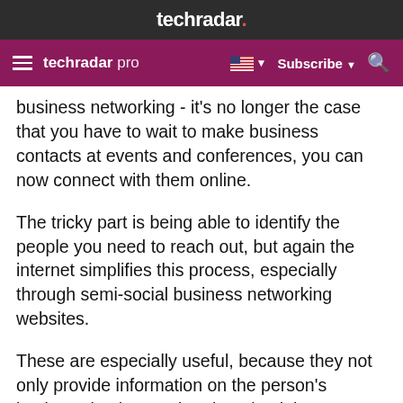techradar.
techradar pro  Subscribe
business networking - it's no longer the case that you have to wait to make business contacts at events and conferences, you can now connect with them online.
The tricky part is being able to identify the people you need to reach out, but again the internet simplifies this process, especially through semi-social business networking websites.
These are especially useful, because they not only provide information on the person's business background and credentials, you can also find other people connected to them.